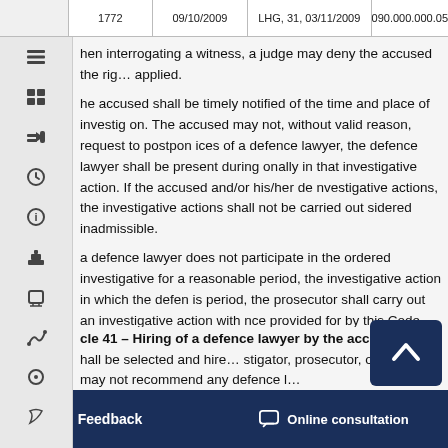|  | 1772 | 09/10/2009 | LHG, 31, 03/11/2009 | 090.000.000.05 |
| --- | --- | --- | --- | --- |
When interrogating a witness, a judge may deny the accused the right... applied.
The accused shall be timely notified of the time and place of investigative action. The accused may not, without valid reason, request to postpone... services of a defence lawyer, the defence lawyer shall be present during... personally in that investigative action. If the accused and/or his/her defence... investigative actions, the investigative actions shall not be carried out... sidered inadmissible.
If a defence lawyer does not participate in the ordered investigative action... for a reasonable period, the investigative action in which the defence lawyer... this period, the prosecutor shall carry out an investigative action with... ence provided for by this Code. Non-appearance of a defence lawyer...
Article 41 – Hiring of a defence lawyer by the accused
...shall be selected and hired... stigator, prosecutor, or a judge may not recommend any defence lawyer...